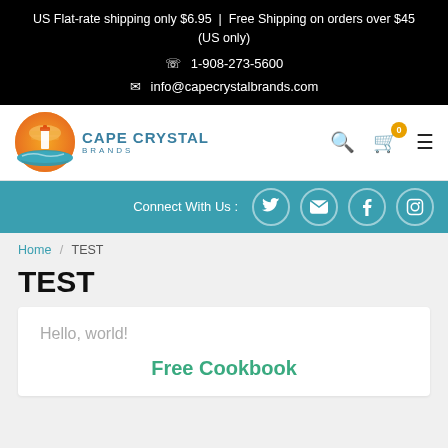US Flat-rate shipping only $6.95  |  Free Shipping on orders over $45 (US only)
☎ 1-908-273-5600
✉ info@capecrystalbrands.com
[Figure (logo): Cape Crystal Brands logo — circular orange lighthouse over water with teal wave, 'Cape Crystal Brands' text beside it]
Connect With Us :
Home / TEST
TEST
Hello, world!
Free Cookbook